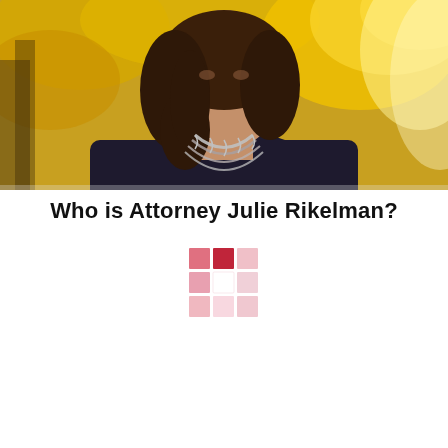[Figure (photo): Portrait photo of a woman with long dark hair wearing a dark navy/purple long-sleeve top and a layered chain necklace, photographed outdoors with autumn golden foliage in the background.]
Who is Attorney Julie Rikelman?
[Figure (logo): A 3x3 grid logo made of square tiles in varying shades of pink and red, with the center right tile being white/empty, resembling a mosaic or brand mark.]